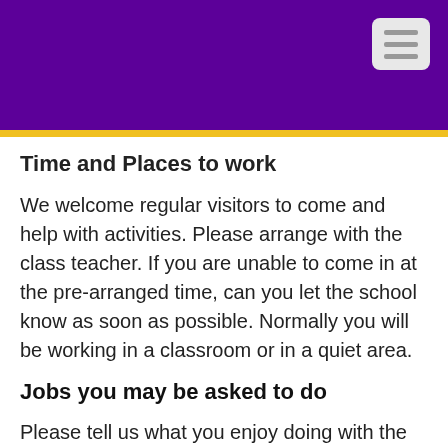Time and Places to work
We welcome regular visitors to come and help with activities. Please arrange with the class teacher. If you are unable to come in at the pre-arranged time, can you let the school know as soon as possible. Normally you will be working in a classroom or in a quiet area.
Jobs you may be asked to do
Please tell us what you enjoy doing with the children! We can then give you an activity or job